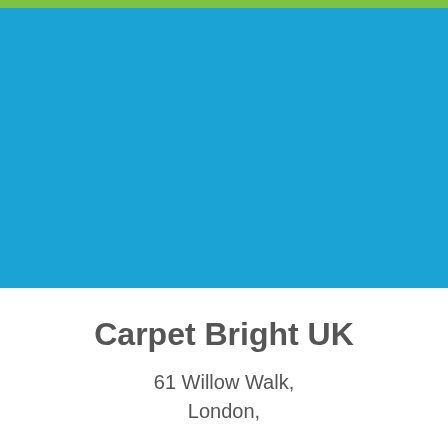[Figure (illustration): Green bar at top and large blue rectangular block filling upper portion of the page, serving as a decorative/branding header image.]
Carpet Bright UK
61 Willow Walk,
London,